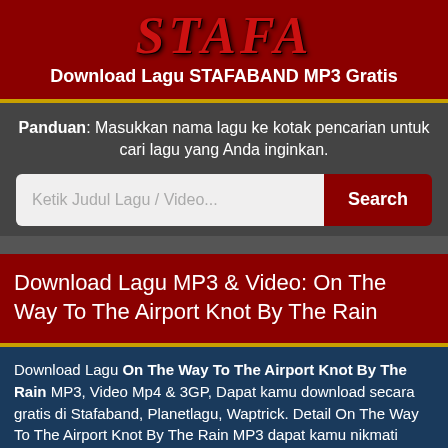STAFA
Download Lagu STAFABAND MP3 Gratis
Panduan: Masukkan nama lagu ke kotak pencarian untuk cari lagu yang Anda inginkan.
Ketik Judul Lagu / Video... Search
Download Lagu MP3 & Video: On The Way To The Airport Knot By The Rain
Download Lagu On The Way To The Airport Knot By The Rain MP3, Video Mp4 & 3GP, Dapat kamu download secara gratis di Stafaband, Planetlagu, Waptrick. Detail On The Way To The Airport Knot By The Rain MP3 dapat kamu nikmati dengan cara klik tombol Download Mp3 di bawah CEPAT dan MUDAH, dan untuk link download lagu On The Way To